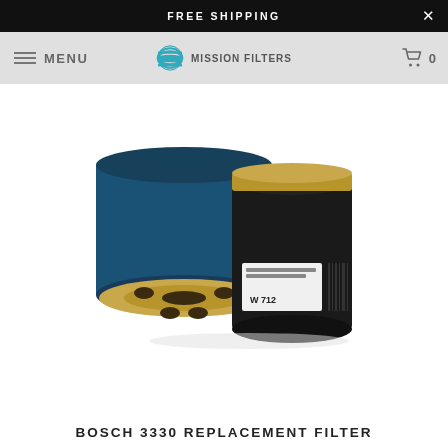FREE SHIPPING
[Figure (logo): Mission Filters logo with horizontal stripe globe icon and MISSION FILTERS text]
[Figure (photo): Two Bosch oil filters: one shown from the bottom (circular face with mounting hole and oil ports, gold/blue coloring), one shown from the side (black cylindrical canister with W 712 label and barcode)]
BOSCH 3330 REPLACEMENT FILTER